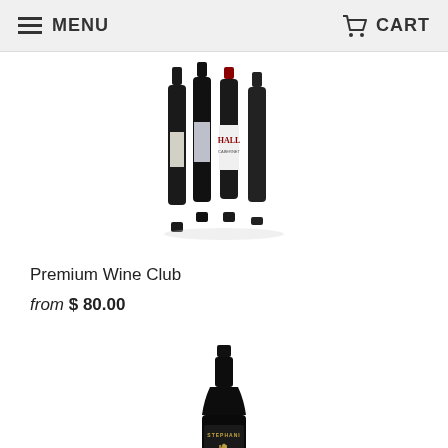MENU  CART
[Figure (photo): Four dark wine bottles grouped together, with labels visible including 'HALL', shown against a white background]
Premium Wine Club
from $ 80.00
[Figure (photo): Single dark wine bottle with gold harp logo and 'STEPHANI' label, shown against a white background]